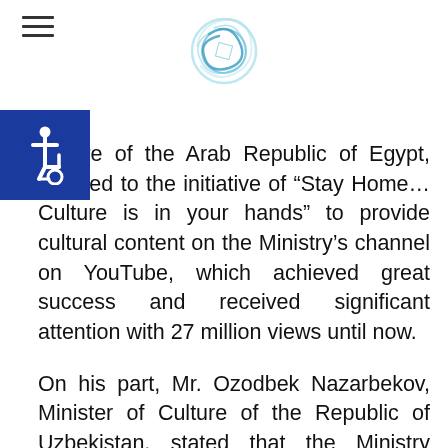culture of the Arab Republic of Egypt, referred to the initiative of “Stay Home… Culture is in your hands” to provide cultural content on the Ministry’s channel on YouTube, which achieved great success and received significant attention with 27 million views until now.
On his part, Mr. Ozodbek Nazarbekov, Minister of Culture of the Republic of Uzbekistan, stated that the Ministry provided virtual lessons and presentations as well as 3-D visits to heritage sites, explaining that his Ministry adapted to the circumstances caused by the pandemic to